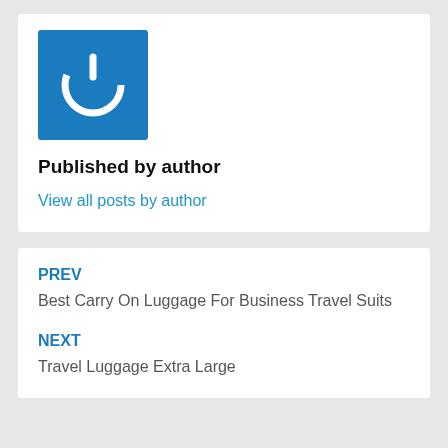[Figure (logo): Blue square logo with white power button icon]
Published by author
View all posts by author
PREV
Best Carry On Luggage For Business Travel Suits
NEXT
Travel Luggage Extra Large